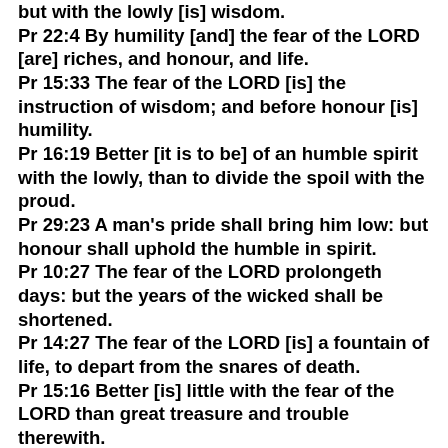but with the lowly [is] wisdom.
Pr 22:4 By humility [and] the fear of the LORD [are] riches, and honour, and life.
Pr 15:33 The fear of the LORD [is] the instruction of wisdom; and before honour [is] humility.
Pr 16:19 Better [it is to be] of an humble spirit with the lowly, than to divide the spoil with the proud.
Pr 29:23 A man's pride shall bring him low: but honour shall uphold the humble in spirit.
Pr 10:27 The fear of the LORD prolongeth days: but the years of the wicked shall be shortened.
Pr 14:27 The fear of the LORD [is] a fountain of life, to depart from the snares of death.
Pr 15:16 Better [is] little with the fear of the LORD than great treasure and trouble therewith.
Pr 19:23 The fear of the LORD [tendeth] to life: and [he that hath it] shall abide satisfied; he shall not